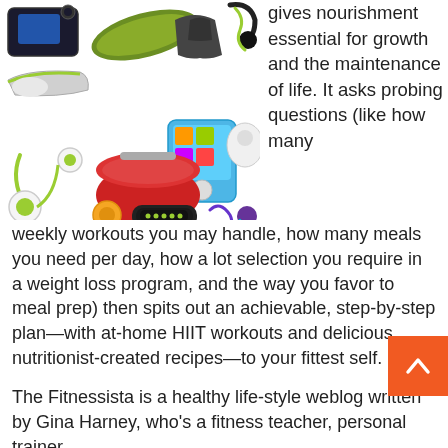[Figure (illustration): Collage of fitness and electronics items: camera, yoga mat, headphones, jump rope, sneakers, hoodie, iPod, earbuds, food steamer, fitness tracker, in-ear headphones]
gives nourishment essential for growth and the maintenance of life. It asks probing questions (like how many weekly workouts you may handle, how many meals you need per day, how a lot selection you require in a weight loss program, and the way you favor to meal prep) then spits out an achievable, step-by-step plan—with at-home HIIT workouts and delicious, nutritionist-created recipes—to your fittest self.
The Fitnessista is a healthy life-style weblog written by Gina Harney, who's a fitness teacher, personal trainer,